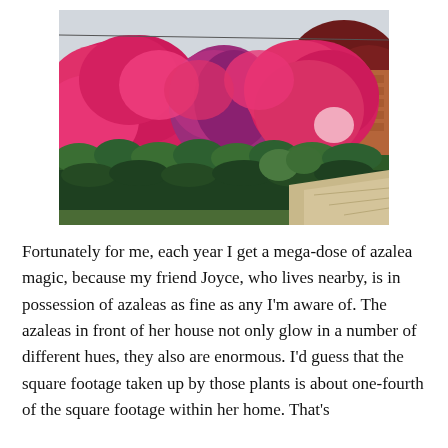[Figure (photo): Photograph of large, vibrant pink and magenta azalea bushes in full bloom in front of a house, with neatly trimmed dark green hedges below and a brick building visible on the right side. The sky is overcast.]
Fortunately for me, each year I get a mega-dose of azalea magic, because my friend Joyce, who lives nearby, is in possession of azaleas as fine as any I'm aware of. The azaleas in front of her house not only glow in a number of different hues, they also are enormous. I'd guess that the square footage taken up by those plants is about one-fourth of the square footage within her home. That's